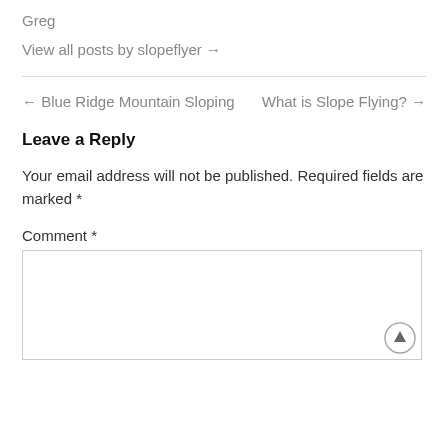Greg
View all posts by slopeflyer →
← Blue Ridge Mountain Sloping
What is Slope Flying? →
Leave a Reply
Your email address will not be published. Required fields are marked *
Comment *